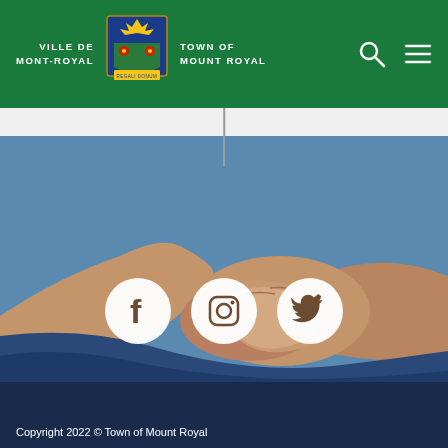VILLE DE MONT-ROYAL | TOWN OF MOUNT ROYAL
[Figure (photo): Two people holding hands close-up photo, overlaid with Facebook, Instagram, and Twitter social media icons in white circles]
Copyright 2022 © Town of Mount Royal